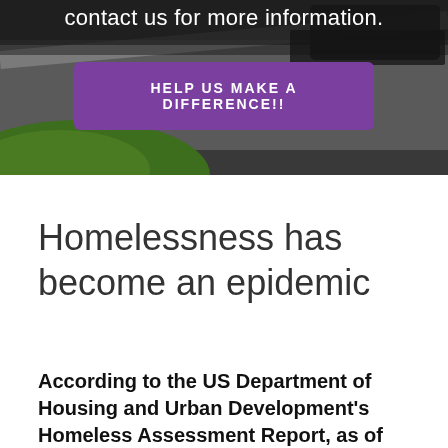[Figure (photo): Dark background hero image showing a road scene with grass and cars, partially visible at top of page]
Contact us for more information.
HELP US MAKE A DIFFERENCE!!
Homelessness has become an epidemic
According to the US Department of Housing and Urban Development's Homeless Assessment Report, as of 2017